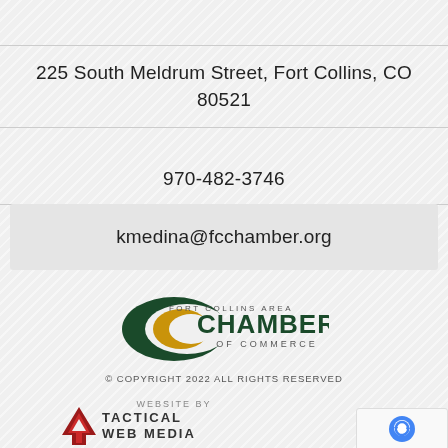225 South Meldrum Street, Fort Collins, CO 80521
970-482-3746
kmedina@fcchamber.org
[Figure (logo): Fort Collins Area Chamber of Commerce logo with dark green crescent and gold crescent moon shape]
© COPYRIGHT 2022 ALL RIGHTS RESERVED
WEBSITE BY
[Figure (logo): Tactical Web Media logo with red geometric arrow/mountain shape and bold text TACTICAL WEB MEDIA]
[Figure (other): reCAPTCHA widget showing robot icon with Privacy and Terms text]